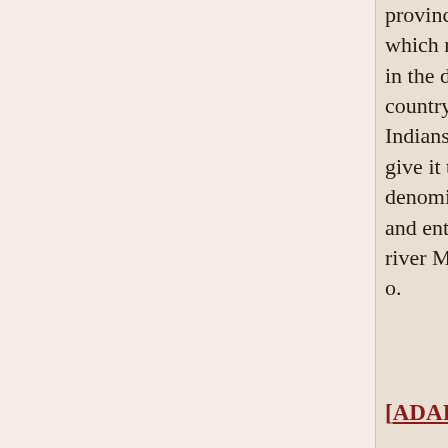province, which runs 5. e. in the district or country of the Indians, who give it the denomination ; and enters the river Mexicano.
[ADAI